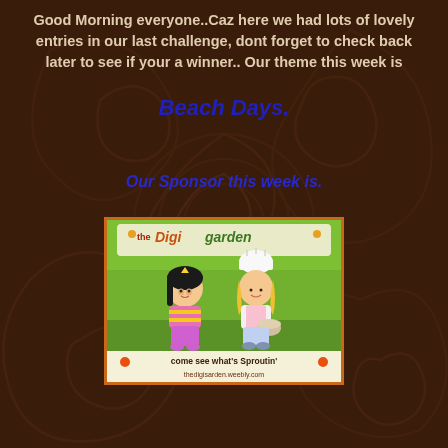Good Morning everyone..Caz here we had lots of lovely entries in our last challenge, dont forget to check back later to see if your a winner.. Our theme this week is
Beach Days.
Our Sponsor this week is.
[Figure (illustration): The Digi Garden logo/advertisement showing two cartoon girl characters on a green background with text 'come see what's Sproutin' and 'thedigisarden.weebly.com']